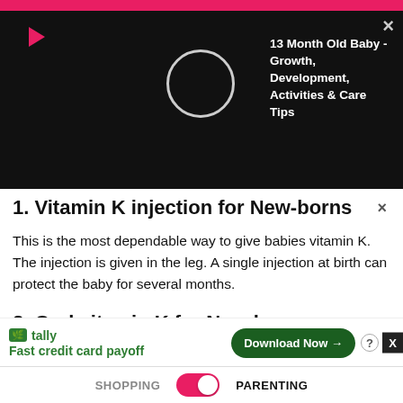[Figure (screenshot): Video overlay popup on black background showing a play button, circular loading indicator, and text title '13 Month Old Baby - Growth, Development, Activities & Care Tips' with a close X button]
1. Vitamin K injection for New-borns
This is the most dependable way to give babies vitamin K. The injection is given in the leg. A single injection at birth can protect the baby for several months.
2. Oral vitamin K for New-borns
Oral supplements not as effective as an injection as the babies do not absorb it well when they are given orally. This is beca… nd bor…
[Figure (screenshot): Advertisement for Tally app showing 'Fast credit card payoff' with a green Download Now button and ad controls]
SHOPPING   [toggle]   PARENTING